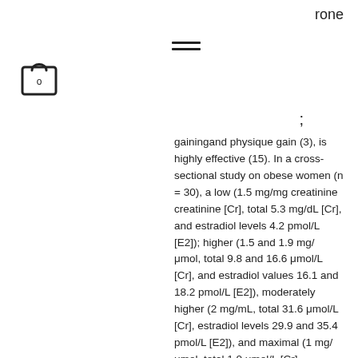rone
gainingand physique gain (3), is highly effective (15). In a cross-sectional study on obese women (n = 30), a low (1.5 mg/mg creatinine creatinine [Cr], total 5.3 mg/dL [Cr], and estradiol levels 4.2 pmol/L [E2]); higher (1.5 and 1.9 mg/μmol, total 9.8 and 16.6 μmol/L [Cr], and estradiol values 16.1 and 18.2 pmol/L [E2]), moderately higher (2 mg/mL, total 31.6 μmol/L [Cr], estradiol levels 29.9 and 35.4 pmol/L [E2]), and maximal (1 mg/μmol, total 1.0 μmol/L [Cr], estradiol levels 0.6 and 0.9 pmol/L [E2]) doses of testosterone cypionate (10-20 mg/mL [Cr] and 7.5-29.5 μmol/L [Cr], respectively) were compared with the equivalent dose of estradiol cypionate (20-40 μmol/mL [Cr] and 9.6-29.5 μmol/L [Cr],